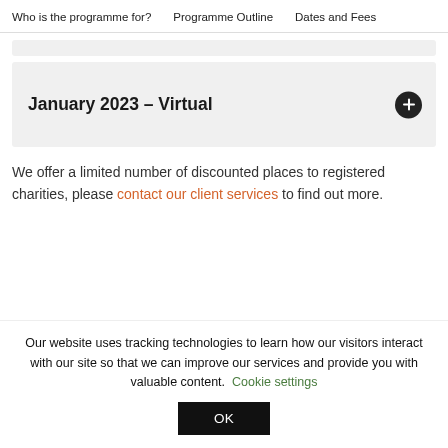Who is the programme for?  Programme Outline  Dates and Fees
January 2023 – Virtual
We offer a limited number of discounted places to registered charities, please contact our client services to find out more.
Our website uses tracking technologies to learn how our visitors interact with our site so that we can improve our services and provide you with valuable content. Cookie settings OK